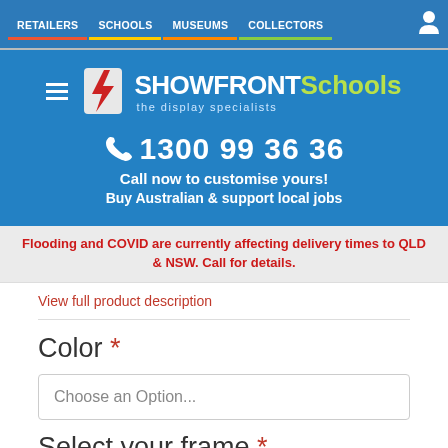RETAILERS | SCHOOLS | MUSEUMS | COLLECTORS
[Figure (logo): Showfront Schools logo with lightning bolt icon and tagline 'the display specialists']
1300 99 36 36
Call now to customise yours!
Buy Australian & support local jobs
Flooding and COVID are currently affecting delivery times to QLD & NSW. Call for details.
View full product description
Color *
Choose an Option...
Select your frame *